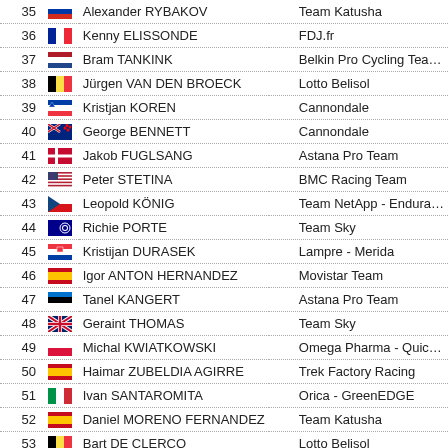| # | Flag | Name | Team |
| --- | --- | --- | --- |
| 35 |  | Alexander RYBAKOV | Team Katusha |
| 36 |  | Kenny ELISSONDE | FDJ.fr |
| 37 |  | Bram TANKINK | Belkin Pro Cycling Tea… |
| 38 |  | Jürgen VAN DEN BROECK | Lotto Belisol |
| 39 |  | Kristjan KOREN | Cannondale |
| 40 |  | George BENNETT | Cannondale |
| 41 |  | Jakob FUGLSANG | Astana Pro Team |
| 42 |  | Peter STETINA | BMC Racing Team |
| 43 |  | Leopold KÖNIG | Team NetApp - Endura… |
| 44 |  | Richie PORTE | Team Sky |
| 45 |  | Kristijan DURASEK | Lampre - Merida |
| 46 |  | Igor ANTON HERNANDEZ | Movistar Team |
| 47 |  | Tanel KANGERT | Astana Pro Team |
| 48 |  | Geraint THOMAS | Team Sky |
| 49 |  | Michal KWIATKOWSKI | Omega Pharma - Quic… |
| 50 |  | Haimar ZUBELDIA AGIRRE | Trek Factory Racing |
| 51 |  | Ivan SANTAROMITA | Orica - GreenEDGE |
| 52 |  | Daniel MORENO FERNANDEZ | Team Katusha |
| 53 |  | Bart DE CLERCQ | Lotto Belisol |
| 54 |  | Sébastien REICHENBACH | IAM Cycling |
| 55 |  | Amaël MOINARD | BMC Racing Team |